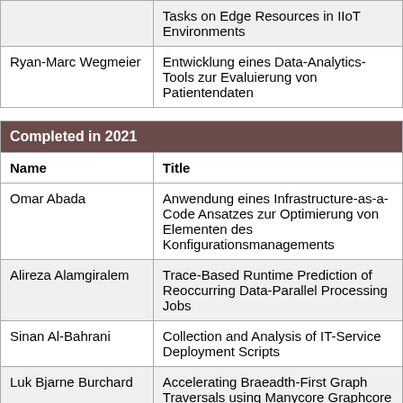| Name | Title |
| --- | --- |
|  | Tasks on Edge Resources in IIoT Environments |
| Ryan-Marc Wegmeier | Entwicklung eines Data-Analytics-Tools zur Evaluierung von Patientendaten |
| Name | Title |
| --- | --- |
| Omar Abada | Anwendung eines Infrastructure-as-a-Code Ansatzes zur Optimierung von Elementen des Konfigurationsmanagements |
| Alireza Alamgiralem | Trace-Based Runtime Prediction of Reoccurring Data-Parallel Processing Jobs |
| Sinan Al-Bahrani | Collection and Analysis of IT-Service Deployment Scripts |
| Luk Bjarne Burchard | Accelerating Braeadth-First Graph Traversals using Manycore Graphcore IPUs |
| Ha Phuong Do | Machine Learning based Similarity Prediction of Black Box Cloud Services |
| Fabian Sebastian | Anomaly Detection Through Video Generation Forecasting |